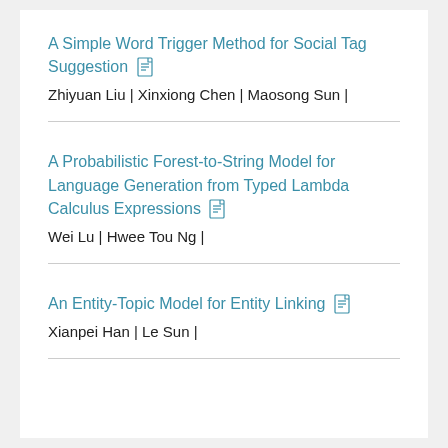A Simple Word Trigger Method for Social Tag Suggestion
Zhiyuan Liu | Xinxiong Chen | Maosong Sun |
A Probabilistic Forest-to-String Model for Language Generation from Typed Lambda Calculus Expressions
Wei Lu | Hwee Tou Ng |
An Entity-Topic Model for Entity Linking
Xianpei Han | Le Sun |